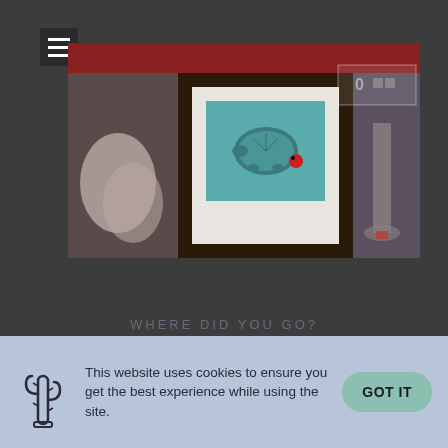[Figure (screenshot): Website screenshot showing a dark overlay with a hamburger menu in the top-left, a framed artwork print (blue/teal illustration of a turtle with a ladybug, black frame, white mat) centered in the upper portion, a cart icon with '0' badge in the upper-right corner, and a dark page background]
WHERE DID YOU GO?
This website uses cookies to ensure you get the best experience while using the site.